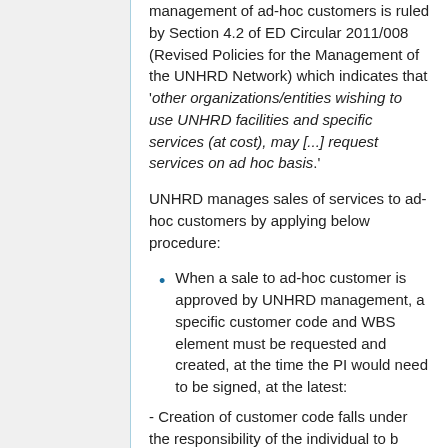management of ad-hoc customers is ruled by Section 4.2 of ED Circular 2011/008 (Revised Policies for the Management of the UNHRD Network) which indicates that 'other organizations/entities wishing to use UNHRD facilities and specific services (at cost), may [...] request services on ad hoc basis.'
UNHRD manages sales of services to ad-hoc customers by applying below procedure:
When a sale to ad-hoc customer is approved by UNHRD management, a specific customer code and WBS element must be requested and created, at the time the PI would need to be signed, at the latest:
- Creation of customer code falls under the responsibility of the individual to be...